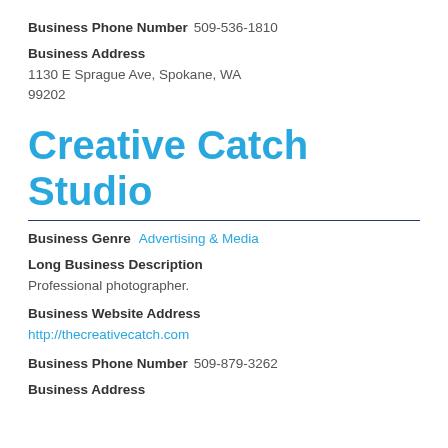Business Phone Number   509-536-1810
Business Address
1130 E Sprague Ave, Spokane, WA 99202
Creative Catch Studio
Business Genre   Advertising & Media
Long Business Description
Professional photographer.
Business Website Address
http://thecreativecatch.com
Business Phone Number   509-879-3262
Business Address